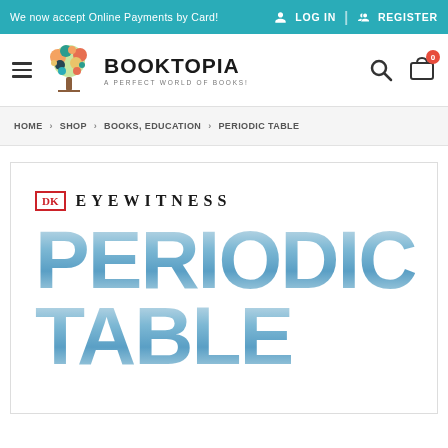We now accept Online Payments by Card!  LOG IN  |  REGISTER
[Figure (logo): Booktopia logo with colorful tree and text 'BOOKTOPIA - A Perfect World of Books']
HOME › SHOP › BOOKS, EDUCATION › PERIODIC TABLE
[Figure (photo): DK Eyewitness Periodic Table book cover showing large blue gradient text 'PERIODIC TABLE' with DK logo and Eyewitness branding]